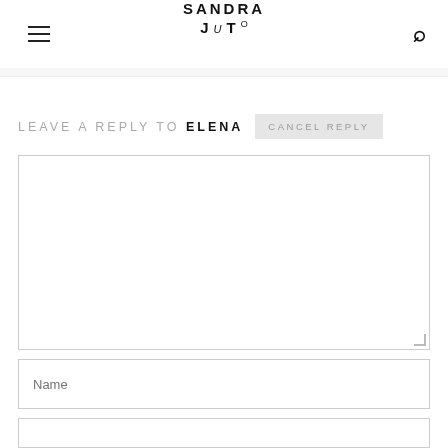SANDRA JUTO
LEAVE A REPLY TO ELENA   CANCEL REPLY
[Figure (other): Comment text area input box, empty]
[Figure (other): Name input field]
[Figure (other): Email input field (partially visible)]